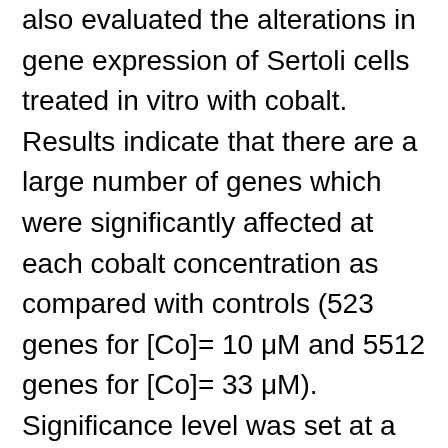also evaluated the alterations in gene expression of Sertoli cells treated in vitro with cobalt. Results indicate that there are a large number of genes which were significantly affected at each cobalt concentration as compared with controls (523 genes for [Co]= 10 μM and 5512 genes for [Co]= 33 μM). Significance level was set at a >2-fold change, p< 0.05. This research will further define the role of the Sertoli cell in the detrimental reproductive effects of cobalt on spermatogenesis.
Funder Acknowledgement(s): This work was supported by Dr. Nancy G. Pedigo of Presbyterian College School of Pharmacy, the Claflin University-HBCU-UP Program, and the National Science Foundation (Grant